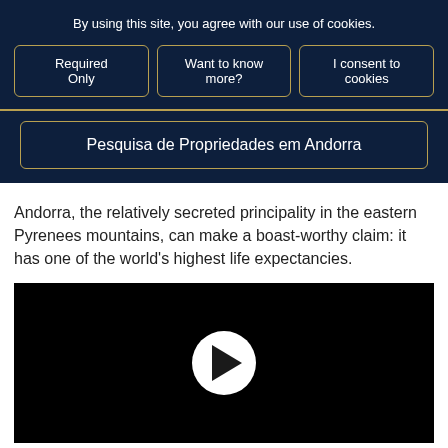By using this site, you agree with our use of cookies.
Required Only
Want to know more?
I consent to cookies
Pesquisa de Propriedades em Andorra
Andorra, the relatively secreted principality in the eastern Pyrenees mountains, can make a boast-worthy claim: it has one of the world's highest life expectancies.
[Figure (other): Video player with black background and white circular play button in center]